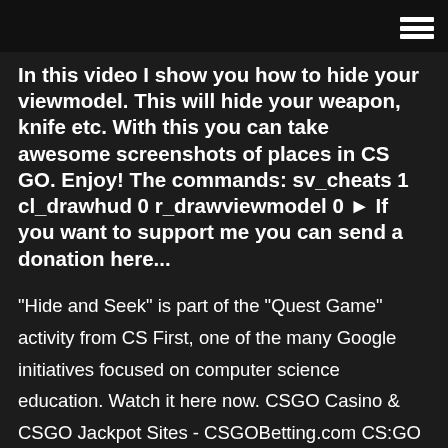[hamburger menu icon]
In this video I show you how to hide your viewmodel. This will hide your weapon, knife etc. With this you can take awesome screenshots of places in CS GO. Enjoy! The commands: sv_cheats 1 cl_drawhud 0 r_drawviewmodel 0 ► If you want to support me you can send a donation here...
"Hide and Seek" is part of the "Quest Game" activity from CS First, one of the many Google initiatives focused on computer science education. Watch it here now. CSGO Casino & CSGO Jackpot Sites - CSGOBetting.com CS:GO Shuffle cannot even compare to a fully licensed and regulated online casino where you can be certain that your